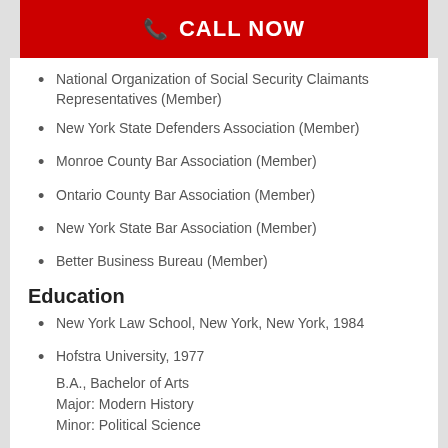[Figure (other): Red CALL NOW button with phone icon]
National Organization of Social Security Claimants Representatives (Member)
New York State Defenders Association (Member)
Monroe County Bar Association (Member)
Ontario County Bar Association (Member)
New York State Bar Association (Member)
Better Business Bureau (Member)
Education
New York Law School, New York, New York, 1984
Hofstra University, 1977
B.A., Bachelor of Arts
Major: Modern History
Minor: Political Science